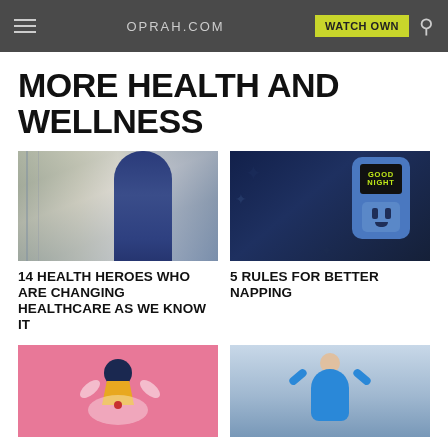OPRAH.COM | WATCH OWN
MORE HEALTH AND WELLNESS
[Figure (photo): Nurse in scrubs standing in hospital hallway]
[Figure (photo): Night light device with 'GOOD NIGHT' green display and outlet face]
14 HEALTH HEROES WHO ARE CHANGING HEALTHCARE AS WE KNOW IT
5 RULES FOR BETTER NAPPING
[Figure (illustration): Illustration of person meditating with pink background]
[Figure (photo): Woman in blue top stretching outdoors]